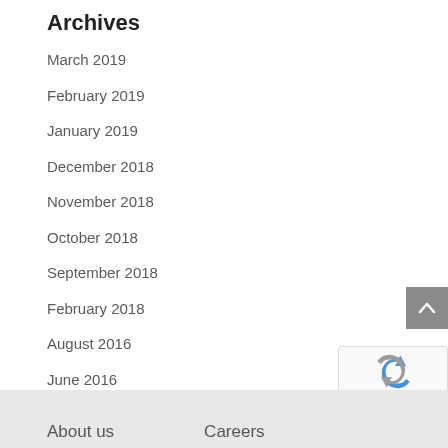Archives
March 2019
February 2019
January 2019
December 2018
November 2018
October 2018
September 2018
February 2018
August 2016
June 2016
About us   Careers